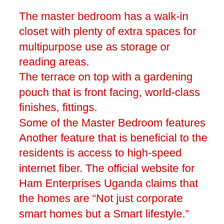The master bedroom has a walk-in closet with plenty of extra spaces for multipurpose use as storage or reading areas.
The terrace on top with a gardening pouch that is front facing, world-class finishes, fittings.
Some of the Master Bedroom features
Another feature that is beneficial to the residents is access to high-speed internet fiber. The official website for Ham Enterprises Uganda claims that the homes are “Not just corporate smart homes but a Smart lifestyle.” There are three typologies available that range from 12 decimals for the normal corporate smart homes to 24 decimals for the luxury corporate smart homes. These smart homes are two stories each and contain 5 to 7 bedrooms, an open floor plan with huge windows, a spacious living room with high ceilings, world-class fittings and finishings, and a smart parking for up to 4